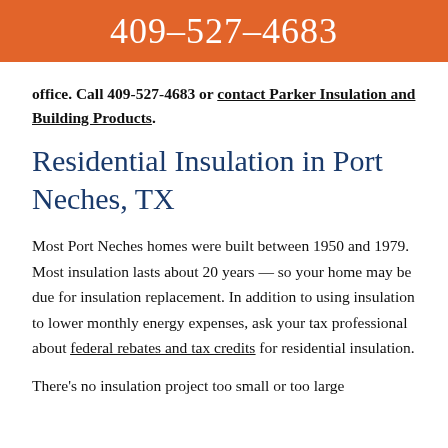409-527-4683
office. Call 409-527-4683 or contact Parker Insulation and Building Products.
Residential Insulation in Port Neches, TX
Most Port Neches homes were built between 1950 and 1979. Most insulation lasts about 20 years — so your home may be due for insulation replacement. In addition to using insulation to lower monthly energy expenses, ask your tax professional about federal rebates and tax credits for residential insulation.
There's no insulation project too small or too large